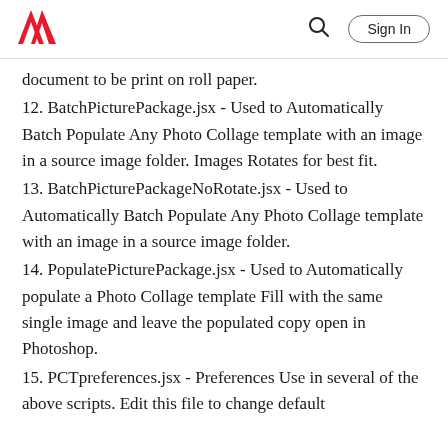Adobe | Sign In
document to be print on roll paper.
12. BatchPicturePackage.jsx - Used to Automatically Batch Populate Any Photo Collage template with an image in a source image folder. Images Rotates for best fit.
13. BatchPicturePackageNoRotate.jsx - Used to Automatically Batch Populate Any Photo Collage template with an image in a source image folder.
14. PopulatePicturePackage.jsx - Used to Automatically populate a Photo Collage template Fill with the same single image and leave the populated copy open in Photoshop.
15. PCTpreferences.jsx - Preferences Use in several of the above scripts. Edit this file to change default